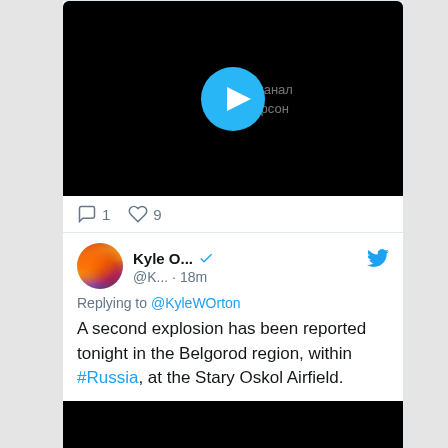[Figure (screenshot): Video player thumbnail with black background, play button, and Cyrillic watermark text]
1  9
[Figure (screenshot): Twitter/X tweet from Kyle O... (@K...) 18m ago, replying to @KyleWOrton: A second explosion has been reported tonight in the Belgorod region, within #Russia, at the Stary Oskol Airfield.]
[Figure (screenshot): Bottom black video thumbnail]